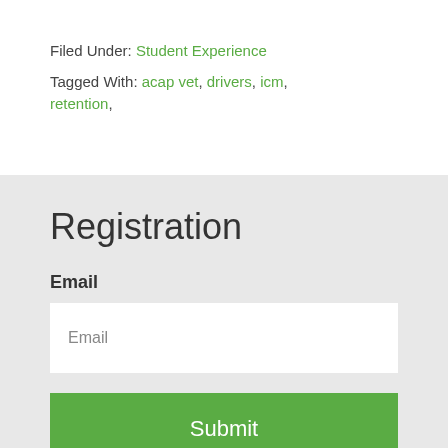Filed Under: Student Experience
Tagged With: acap vet, drivers, icm, retention,
Registration
Email
Email
Submit